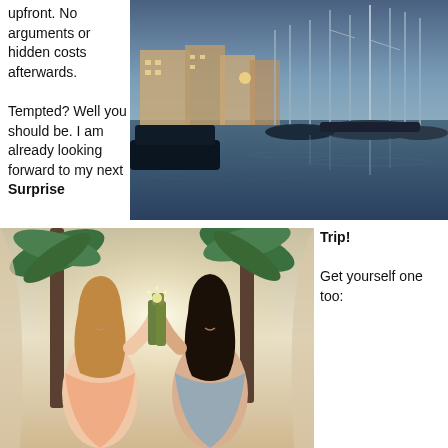upfront. No arguments or hidden costs afterwards.

Tempted? Well you should be. I am already looking forward to my next Surprise Trip!

Get yourself one too:
[Figure (photo): Marina at dusk with sailboats and yachts moored in calm water, apartment buildings visible in background, twilight sky]
[Figure (photo): Two women clinking beer bottles outdoors near palm trees in bright sunlight, both smiling and wearing summer dresses]